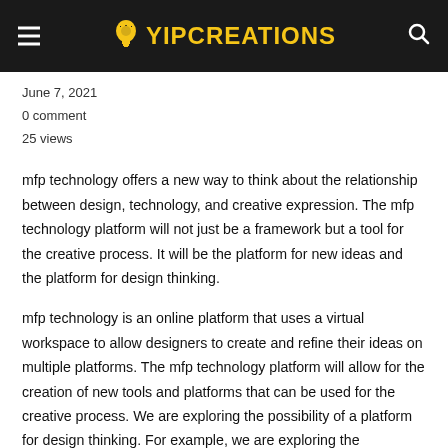YIPCREATIONS
June 7, 2021
0 comment
25 views
mfp technology offers a new way to think about the relationship between design, technology, and creative expression. The mfp technology platform will not just be a framework but a tool for the creative process. It will be the platform for new ideas and the platform for design thinking.
mfp technology is an online platform that uses a virtual workspace to allow designers to create and refine their ideas on multiple platforms. The mfp technology platform will allow for the creation of new tools and platforms that can be used for the creative process. We are exploring the possibility of a platform for design thinking. For example, we are exploring the